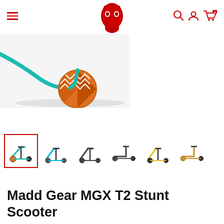Navigation bar with hamburger menu, Madd Gear logo, search, account, and cart icons
[Figure (photo): Partial view of a Madd Gear MGX T2 Stunt Scooter showing the front wheel area with teal frame and orange wheel]
[Figure (photo): Thumbnail row of 6 scooter color variants: teal/orange (selected, red border), cyan/teal, dark grey, dark grey side view, yellow/black, and bronze/gold side view]
Madd Gear MGX T2 Stunt Scooter